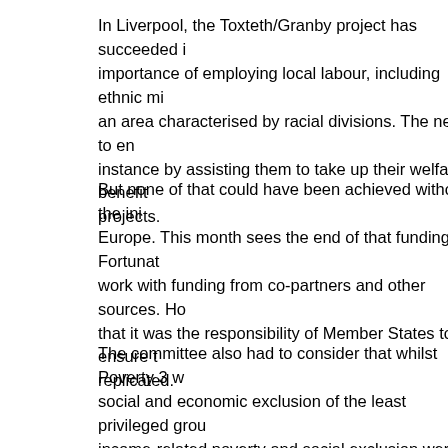In Liverpool, the Toxteth/Granby project has succeeded in importance of employing local labour, including ethnic min an area characterised by racial divisions. The need to enc instance by assisting them to take up their welfare benefits projects.
But none of that could have been achieved without the ini Europe. This month sees the end of that funding. Fortunat work with funding from co-partners and other sources. Ho that it was the responsibility of Member States to ensure t replicated.
The committee also had to consider that whilst Poverty 3 w social and economic exclusion of the least privileged grou income-related poverty and social exclusion were not co-t unemployment and lack of training, old age and single par income in restricting economic and social opportunities. A exclusion. However, it is important that the principles unde partnership between public and private institutions and pa groups concerned are maintained in Poverty 4. It is encou